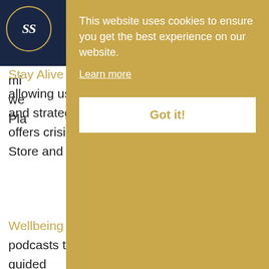[Figure (logo): SS logo in circle on navy background]
mi
we
Pla
This website uses cookies to ensure you get the best experience on our website. Learn more Got it!
Stay Alive – A suicide prevention pocket app allowing users to create a list of resources and strategies to stay safe from suicide and offers crisis support. Available on the App Store and Google Play.
Wellbeing Podcasts – A series of free audio podcasts to improve wellbeing, including guided